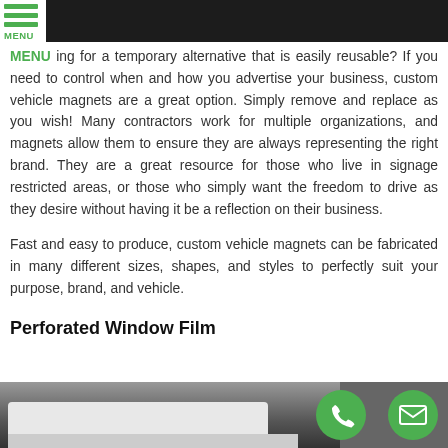MENU
[Figure (photo): Dark header photo of a vehicle, partially visible at the top of the page]
ing for a temporary alternative that is easily reusable? If you need to control when and how you advertise your business, custom vehicle magnets are a great option. Simply remove and replace as you wish! Many contractors work for multiple organizations, and magnets allow them to ensure they are always representing the right brand. They are a great resource for those who live in signage restricted areas, or those who simply want the freedom to drive as they desire without having it be a reflection on their business.
Fast and easy to produce, custom vehicle magnets can be fabricated in many different sizes, shapes, and styles to perfectly suit your purpose, brand, and vehicle.
Perforated Window Film
[Figure (photo): Photo of a white van at the bottom of the page, with green phone and mail contact buttons overlaid on the right side]